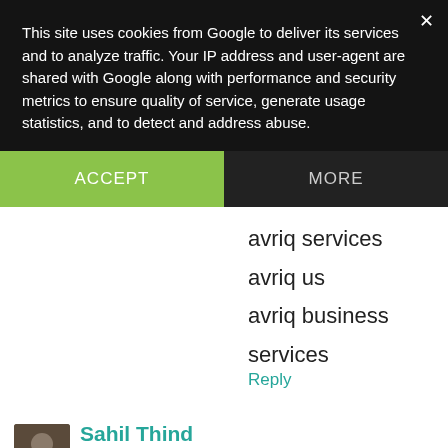This site uses cookies from Google to deliver its services and to analyze traffic. Your IP address and user-agent are shared with Google along with performance and security metrics to ensure quality of service, generate usage statistics, and to detect and address abuse.
ACCEPT
MORE
avriq services
avriq us
avriq business services
Reply
Sahil Thind
February 22, 2018 at 12:01 AM
Digital Marketing Institute i
[Figure (screenshot): Social media sharing bar with icons: Facebook, Pinterest, Twitter, Tumblr, and a circular share icon on a teal background]